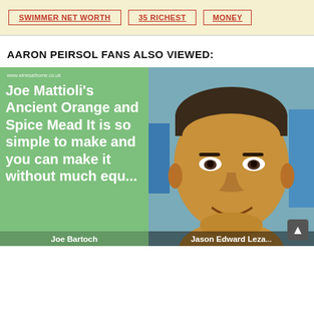SWIMMER NET WORTH
35 RICHEST
MONEY
AARON PEIRSOL FANS ALSO VIEWED:
[Figure (photo): Green card with text: www.winesathome.co.uk — Joe Mattioli's Ancient Orange and Spice Mead It is so simple to make and you can make it without much equ... — with name label Joe Bartoch]
[Figure (photo): Photo of a middle-aged smiling man, partially cropped, with name label Jason Edward Leza]